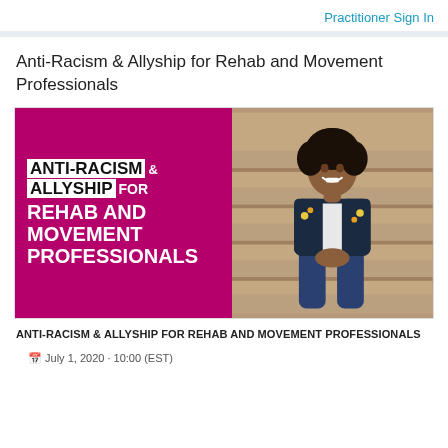Practitioner Sign In
Anti-Racism & Allyship for Rehab and Movement Professionals
[Figure (illustration): Promotional banner image split into two halves: left half is magenta/pink with bold white and black text reading 'ANTI-RACISM & ALLYSHIP FOR REHAB AND MOVEMENT PROFESSIONALS'; right half shows a smiling woman with natural hair sitting on stone steps, wearing a floral jacket over a white top and jeans.]
ANTI-RACISM & ALLYSHIP FOR REHAB AND MOVEMENT PROFESSIONALS
July 1, 2020 · 10:00 (EST)